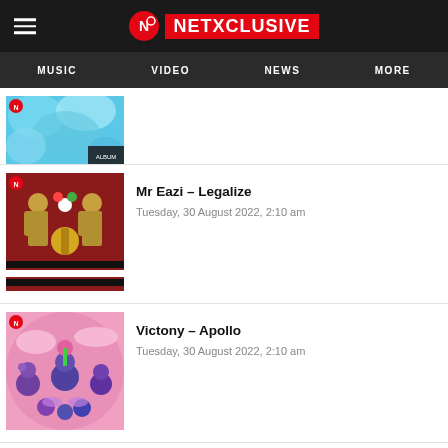NETXCLUSIVE — MUSIC | VIDEO | NEWS | MORE
[Figure (screenshot): Partially visible album art thumbnail (blue fluffy texture) at top of list]
[Figure (screenshot): Mr Eazi – Legalize album art showing two stylized figures on red background]
Mr Eazi – Legalize
Tuesday, 30 August 2022, 2:10 am
[Figure (screenshot): Victony – Apollo album art showing cartoon characters on pink background]
Victony – Apollo
Tuesday, 30 August 2022, 2:10 am
[Figure (screenshot): Burna Boy Ft. Wizkid – Ballon D'or album art showing orange/fruit on dark background]
Burna Boy Ft. Wizkid – Ballon D'or
Tuesday, 30 August 2022, 2:10 am